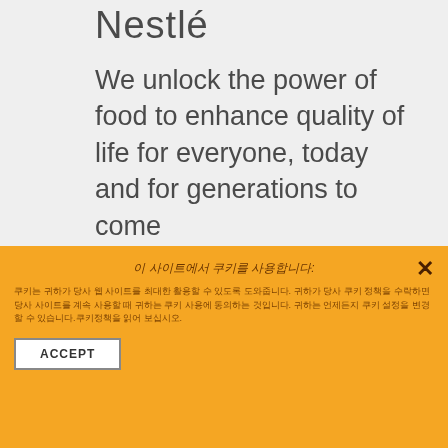Nestlé
We unlock the power of food to enhance quality of life for everyone, today and for generations to come
[Figure (logo): Nestlé bird nest logo — line drawing of a bird feeding chicks in a nest on a branch]
선택 사항
이 사이트에서 쿠키를 사용합니다:
쿠키는 귀하가 당사 웹 사이트를 최대한 활용할 수 있도록 도와줍니다. 귀하가 당사 쿠키 정책을 수락하면 당사 사이트를 계속 사용할 때 귀하는 쿠키 사용에 동의하는 것입니다. 귀하는 언제든지 쿠키 설정을 변경할 수 있습니다.쿠키정책을 읽어 보십시오.
ACCEPT